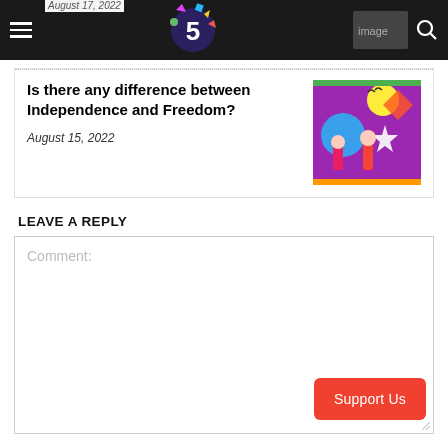August 17, 2022
[Figure (logo): 5-year anniversary logo with colorful geometric shapes]
Is there any difference between Independence and Freedom?
August 15, 2022
[Figure (illustration): Colorful illustration with children and Indian Independence Day theme on purple background]
LEAVE A REPLY
Comment: